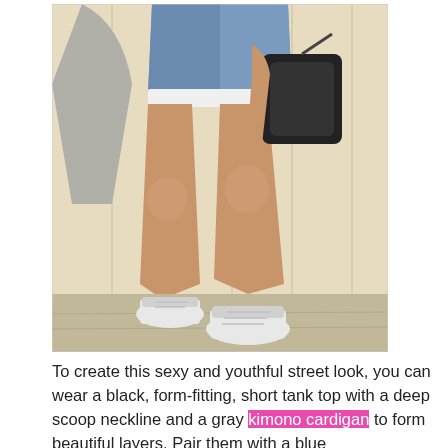[Figure (photo): A person from the torso down wearing denim cutoff shorts, a gray cardigan, white high-top Converse sneakers, and holding a black handbag, standing against a light-colored wall.]
To create this sexy and youthful street look, you can wear a black, form-fitting, short tank top with a deep scoop neckline and a gray kimono cardigan to form beautiful layers. Pair them with a blue